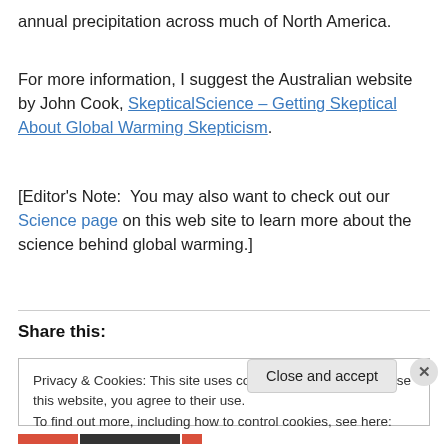annual precipitation across much of North America.
For more information, I suggest the Australian website by John Cook, SkepticalScience – Getting Skeptical About Global Warming Skepticism.
[Editor's Note:  You may also want to check out our Science page on this web site to learn more about the science behind global warming.]
Share this:
Privacy & Cookies: This site uses cookies. By continuing to use this website, you agree to their use.
To find out more, including how to control cookies, see here: Cookie Policy